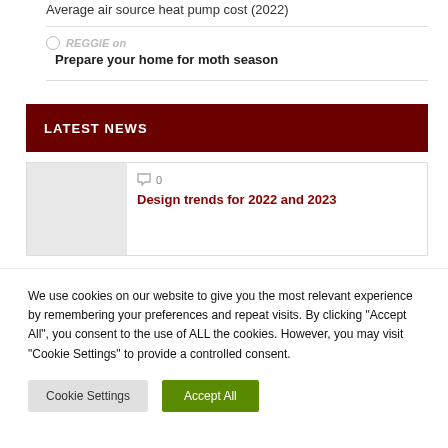Average air source heat pump cost (2022)
REGGIE on
Prepare your home for moth season
LATEST NEWS
0
Design trends for 2022 and 2023
We use cookies on our website to give you the most relevant experience by remembering your preferences and repeat visits. By clicking "Accept All", you consent to the use of ALL the cookies. However, you may visit "Cookie Settings" to provide a controlled consent.